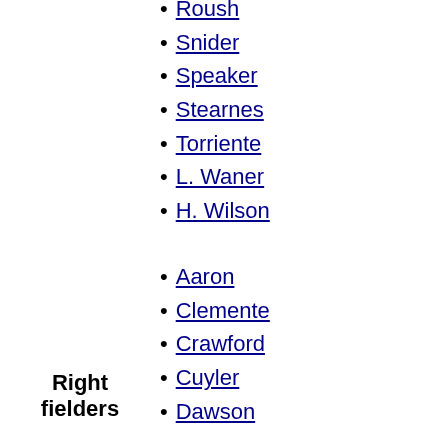Roush
Snider
Speaker
Stearnes
Torriente
L. Waner
H. Wilson
Aaron
Clemente
Crawford
Cuyler
Dawson
Flick
Guerrero
Gwynn
Heilmann
Hooper
R. Jackson
Kaline
Keeler
K. Kelly
Klein
T. McCarthy
Oliva
Right fielders